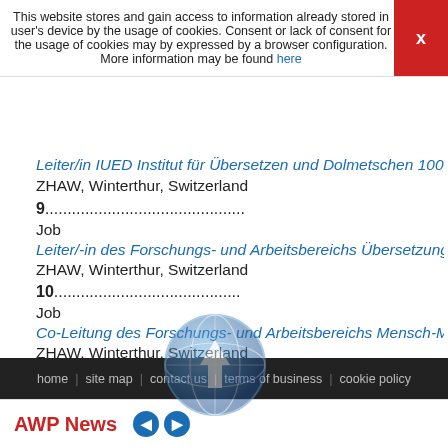This website stores and gain access to information already stored in user's device by the usage of cookies. Consent or lack of consent for the usage of cookies may by expressed by a browser configuration. More information may be found here
Leiter/in IUED Institut für Übersetzen und Dolmetschen 100%
ZHAW, Winterthur, Switzerland
9....................................................
Job
Leiter/-in des Forschungs- und Arbeitsbereichs Übersetzung...
ZHAW, Winterthur, Switzerland
10....................................................
Job
Co-Leitung des Forschungs- und Arbeitsbereichs Mensch-M...
ZHAW, Winterthur, Switzerland
11....................................................
Scholarships
Doctoral research, The Translation in the Hispanic and Luso...
UMass Amherst, USA
Contact: Prof. Itel Goldfajn (tgoldfajn@umass.edu)
12....................................................
Conference
home | site map | contact us | terms of business | cookie policy
AWP News